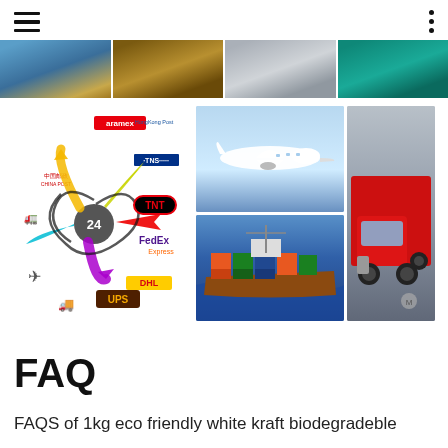navigation menu with hamburger icon and dots menu
[Figure (photo): Four thumbnail images showing shipping/logistics: cargo ship on water, warehouse shelving, stacked boxes/pallets, teal/green surface]
[Figure (infographic): Logistics shipping options diagram showing 24-hour center with colored arrows for carriers: Aramex, HongKong Post, TNS, China Post, TNT, FedEx Express, DHL, UPS, with airplane and truck icons]
[Figure (photo): Composite photo showing: cargo airplane in flight (top left), red semi-truck (right), container ship at sea (bottom left)]
FAQ
FAQS of 1kg eco friendly white kraft biodegradeble